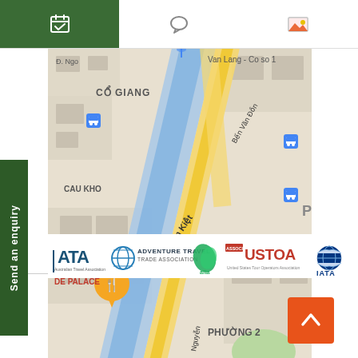[Figure (screenshot): Top navigation bar with calendar icon (active/green background), chat/message icon, and photo/image icon on white background]
[Figure (map): Google Maps screenshot showing area around Đ. Võ Văn Kiệt in Ho Chi Minh City, Vietnam. Shows neighborhoods Cỗ Giang, Cau Kho, Phường 2, Van Lang - Co so 1, streets including Bến Văn Đồn, Nguyễn. Shows bus stop icons, a restaurant pin labeled 'Nhà Hàng De Palace', and a canal/river running diagonally.]
Send an enquiry
[Figure (logo): Association logos: ATA (Australian Travel Association), Adventure Travel Trade Association, AFTA, USTOA (Associate Member, United States Tour Operators Association), IATA]
[Figure (other): Orange back-to-top button with white chevron/caret arrow pointing up]